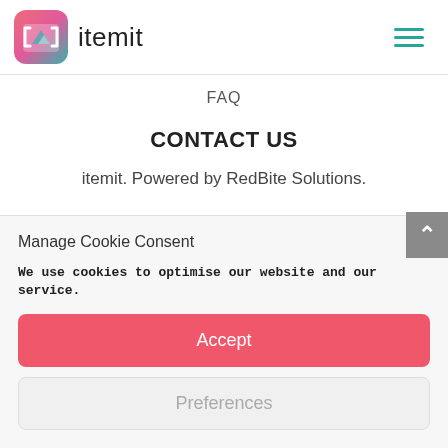[Figure (logo): itemit logo: rounded square icon with teal/pink gradient and white bracket symbol, followed by the text 'itemit' in dark gray]
FAQ
CONTACT US
itemit. Powered by RedBite Solutions.
Manage Cookie Consent
We use cookies to optimise our website and our service.
Accept
Preferences